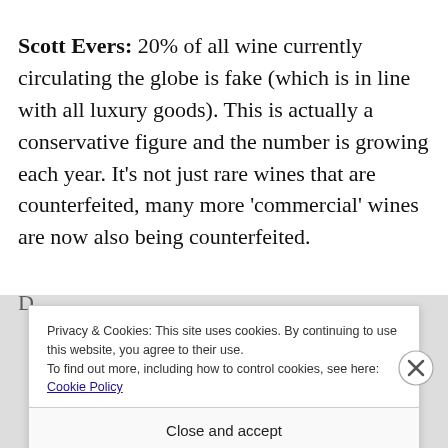Scott Evers: 20% of all wine currently circulating the globe is fake (which is in line with all luxury goods). This is actually a conservative figure and the number is growing each year. It's not just rare wines that are counterfeited, many more 'commercial' wines are now also being counterfeited.
Privacy & Cookies: This site uses cookies. By continuing to use this website, you agree to their use. To find out more, including how to control cookies, see here: Cookie Policy
Close and accept